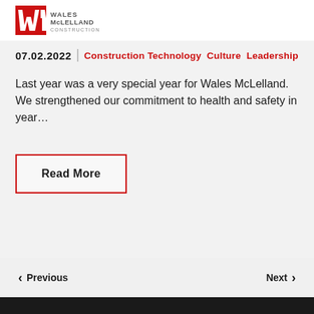Wales McLelland Construction
07.02.2022 | Construction Technology  Culture  Leadership
Last year was a very special year for Wales McLelland. We strengthened our commitment to health and safety in year...
Read More
Previous | Next